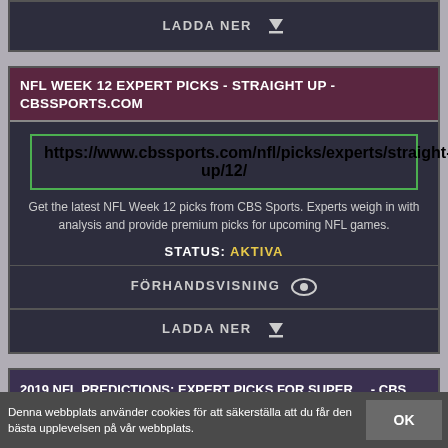LADDA NER ↓
NFL WEEK 12 EXPERT PICKS - STRAIGHT UP - CBSSPORTS.COM
https://www.cbssports.com/nfl/picks/experts/straight-up/12/
Get the latest NFL Week 12 picks from CBS Sports. Experts weigh in with analysis and provide premium picks for upcoming NFL games.
STATUS: AKTIVA
FÖRHANDSVISNING 👁
LADDA NER ↓
2019 NFL PREDICTIONS: EXPERT PICKS FOR SUPER ... - CBS
Denna webbplats använder cookies för att säkerställa att du får den bästa upplevelsen på vår webbplats.